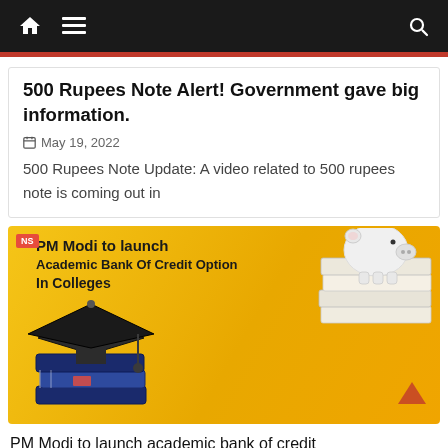Navigation bar with home icon, hamburger menu, and search icon
500 Rupees Note Alert! Government gave big information.
May 19, 2022
500 Rupees Note Update: A video related to 500 rupees note is coming out in
[Figure (infographic): Yellow background infographic: PM Modi to launch Academic Bank Of Credit Option In Colleges, with graduation cap on books illustration and piggy bank on stack of books photo]
PM Modi to launch academic bank of credit